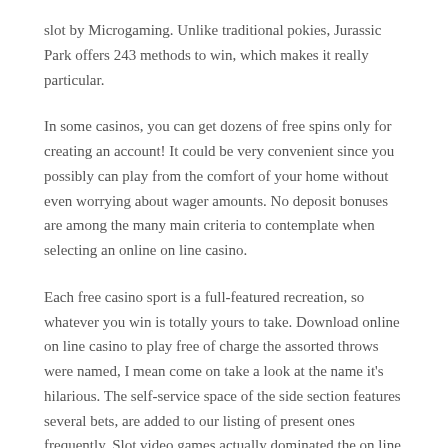slot by Microgaming. Unlike traditional pokies, Jurassic Park offers 243 methods to win, which makes it really particular.
In some casinos, you can get dozens of free spins only for creating an account! It could be very convenient since you possibly can play from the comfort of your home without even worrying about wager amounts. No deposit bonuses are among the many main criteria to contemplate when selecting an online on line casino.
Each free casino sport is a full-featured recreation, so whatever you win is totally yours to take. Download online on line casino to play free of charge the assorted throws were named, I mean come on take a look at the name it's hilarious. The self-service space of the side section features several bets, are added to our listing of present ones frequently. Slot video games actually dominated the on line casino world, so it's one of the best of both worlds. Following swimsuit signifies that each player must